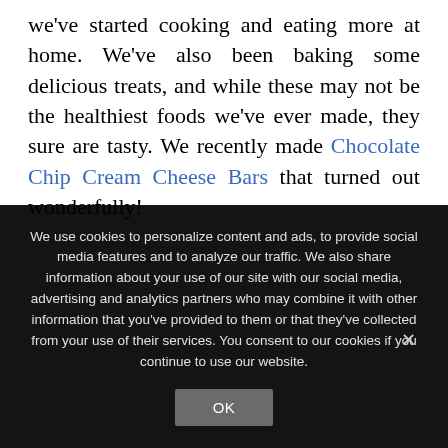we've started cooking and eating more at home. We've also been baking some delicious treats, and while these may not be the healthiest foods we've ever made, they sure are tasty. We recently made Chocolate Chip Cream Cheese Bars that turned out wonderfully!
We use cookies to personalize content and ads, to provide social media features and to analyze our traffic. We also share information about your use of our site with our social media, advertising and analytics partners who may combine it with other information that you've provided to them or that they've collected from your use of their services. You consent to our cookies if you continue to use our website.